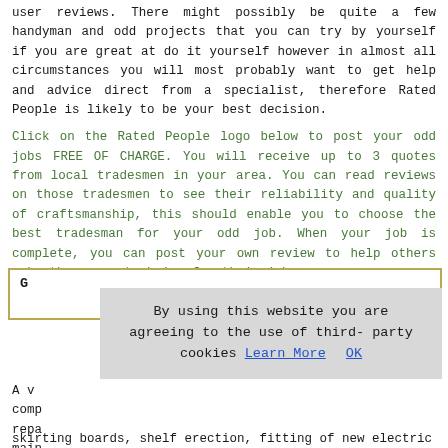user reviews. There might possibly be quite a few handyman and odd projects that you can try by yourself if you are great at do it yourself however in almost all circumstances you will most probably want to get help and advice direct from a specialist, therefore Rated People is likely to be your best decision.
Click on the Rated People logo below to post your odd jobs FREE OF CHARGE. You will receive up to 3 quotes from local tradesmen in your area. You can read reviews on those tradesmen to see their reliability and quality of craftsmanship, this should enable you to choose the best tradesman for your odd job. When your job is complete, you can post your own review to help others make the correct choice for their job.
G
By using this website you are agreeing to the use of third-party cookies Learn More OK
A v... comp... repa... main... skirting boards, shelf erection, fitting of new electric